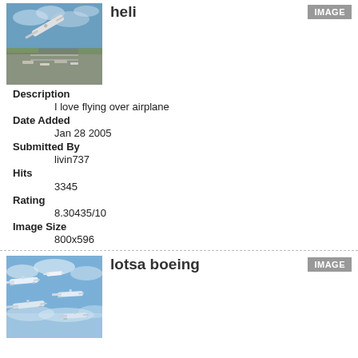[Figure (photo): Aerial view of an airport with a large aircraft flying overhead, tarmac with planes visible below]
heli
IMAGE
Description
    I love flying over airplane
Date Added
    Jan 28 2005
Submitted By
    livin737
Hits
    3345
Rating
    8.30435/10
Image Size
    800x596
[Figure (photo): Multiple Boeing airplanes flying in formation above clouds, blue sky background]
lotsa boeing
IMAGE